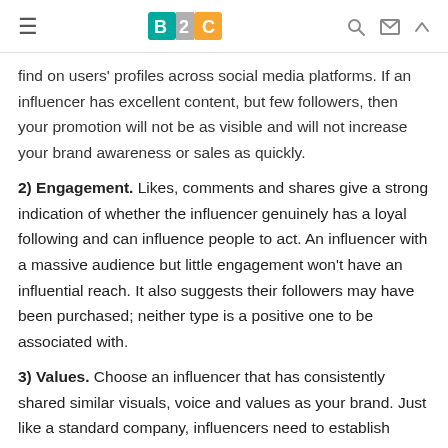B2C [logo] — navigation header with hamburger menu and search/mail/up icons
find on users' profiles across social media platforms. If an influencer has excellent content, but few followers, then your promotion will not be as visible and will not increase your brand awareness or sales as quickly.
2) Engagement. Likes, comments and shares give a strong indication of whether the influencer genuinely has a loyal following and can influence people to act. An influencer with a massive audience but little engagement won't have an influential reach. It also suggests their followers may have been purchased; neither type is a positive one to be associated with.
3) Values. Choose an influencer that has consistently shared similar visuals, voice and values as your brand. Just like a standard company, influencers need to establish consistent